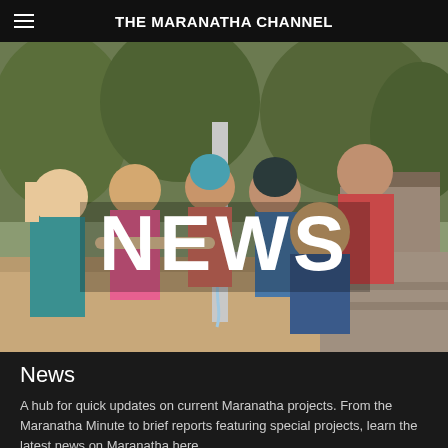THE MARANATHA CHANNEL
[Figure (photo): Group of smiling young people gathered around an outdoor water pump, water flowing from the spout. Rural setting with trees and a building in the background. Large white bold text 'NEWS' overlaid in the center of the image.]
News
A hub for quick updates on current Maranatha projects. From the Maranatha Minute to brief reports featuring special projects, learn the latest news on Maranatha here.